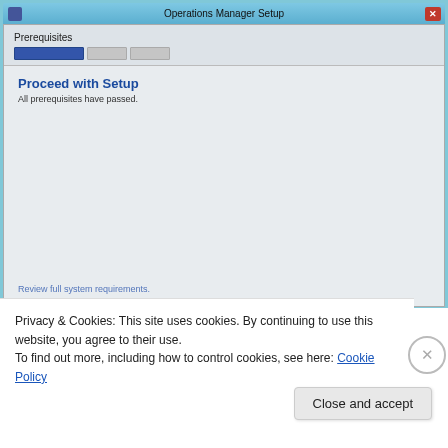[Figure (screenshot): Windows Operations Manager Setup dialog showing Prerequisites step with progress bar. Content area displays 'Proceed with Setup' heading and 'All prerequisites have passed.' message. Bottom has 'Review full system requirements.' link.]
Privacy & Cookies: This site uses cookies. By continuing to use this website, you agree to their use.
To find out more, including how to control cookies, see here: Cookie Policy
Close and accept